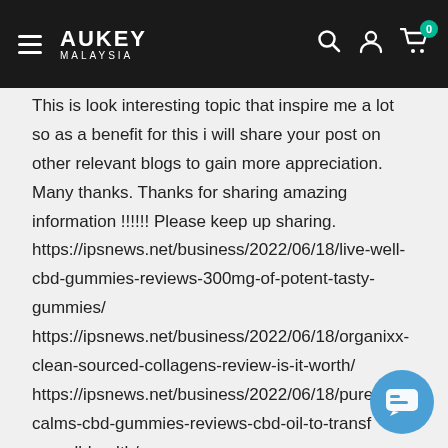AUKEY MALAYSIA — navigation bar with hamburger menu, logo, search, account, and cart icons
This is look interesting topic that inspire me a lot so as a benefit for this i will share your post on other relevant blogs to gain more appreciation. Many thanks. Thanks for sharing amazing information !!!!!! Please keep up sharing. https://ipsnews.net/business/2022/06/18/live-well-cbd-gummies-reviews-300mg-of-potent-tasty-gummies/ https://ipsnews.net/business/2022/06/18/organixx-clean-sourced-collagens-review-is-it-worth/ https://ipsnews.net/business/2022/06/18/pure-calms-cbd-gummies-reviews-cbd-oil-to-transf-overall-health/ https://ipsnews.net/business/2022/06/18/open-